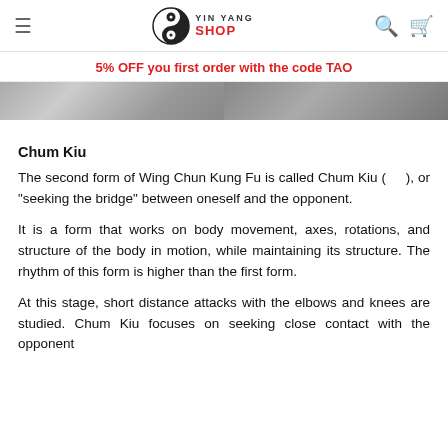≡  YIN YANG SHOP  🔍  🛒
5% OFF you first order with the code TAO
[Figure (photo): Partial image of martial arts practitioners, split into two panels side by side, black and white / grayscale]
Chum Kiu
The second form of Wing Chun Kung Fu is called Chum Kiu (   ), or "seeking the bridge" between oneself and the opponent.
It is a form that works on body movement, axes, rotations, and structure of the body in motion, while maintaining its structure. The rhythm of this form is higher than the first form.
At this stage, short distance attacks with the elbows and knees are studied. Chum Kiu focuses on seeking close contact with the opponent